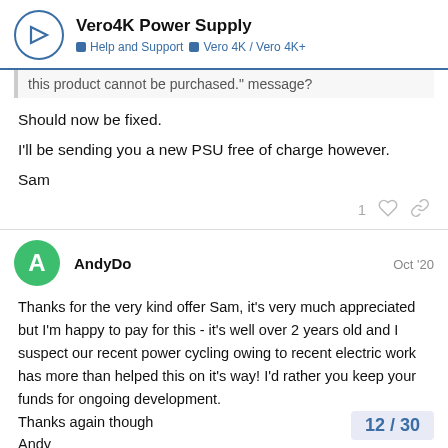Vero4K Power Supply | Help and Support | Vero 4K / Vero 4K+
this product cannot be purchased." message?
Should now be fixed.
I'll be sending you a new PSU free of charge however.
Sam
AndyDo  Oct '20
Thanks for the very kind offer Sam, it's very much appreciated but I'm happy to pay for this - it's well over 2 years old and I suspect our recent power cycling owing to recent electric work has more than helped this on it's way! I'd rather you keep your funds for ongoing development.
Thanks again though
Andy
12 / 30